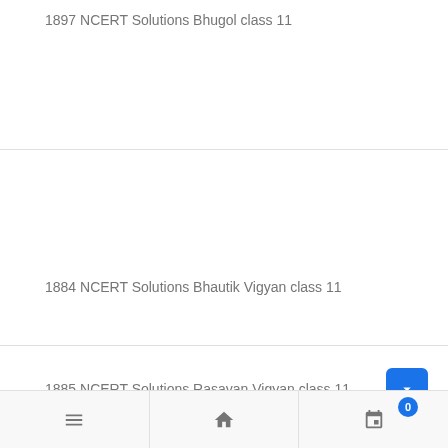1897 NCERT Solutions Bhugol class 11
1884 NCERT Solutions Bhautik Vigyan class 11
1885 NCERT Solutions Rasayan Vigyan class 11
0